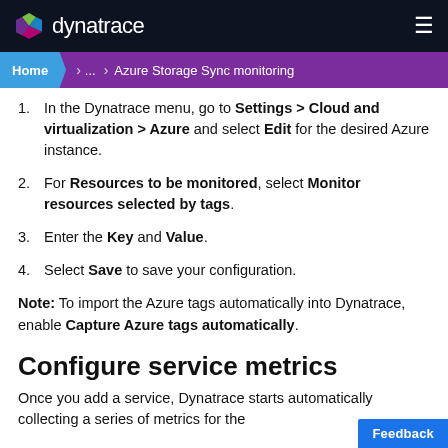dynatrace
Home > ... > Azure Storage Sync monitoring
1. In the Dynatrace menu, go to Settings > Cloud and virtualization > Azure and select Edit for the desired Azure instance.
2. For Resources to be monitored, select Monitor resources selected by tags.
3. Enter the Key and Value.
4. Select Save to save your configuration.
Note: To import the Azure tags automatically into Dynatrace, enable Capture Azure tags automatically.
Configure service metrics
Once you add a service, Dynatrace starts automatically collecting a series of metrics for the service.